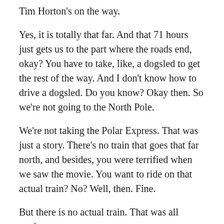Tim Horton's on the way.
Yes, it is totally that far. And that 71 hours just gets us to the part where the roads end, okay? You have to take, like, a dogsled to get the rest of the way. And I don't know how to drive a dogsled. Do you know? Okay then. So we're not going to the North Pole.
We're not taking the Polar Express. That was just a story. There's no train that goes that far north, and besides, you were terrified when we saw the movie. You want to ride on that actual train? No? Well, then. Fine.
But there is no actual train. That was all made-up.